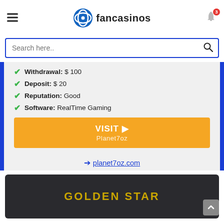fancasinos
Search here..
Withdrawal: $ 100
Deposit: $ 20
Reputation: Good
Software: RealTime Gaming
VISIT Planet7oz
planet7oz.com
[Figure (screenshot): Golden Star casino banner with dark background and gold text reading GOLDEN STAR]